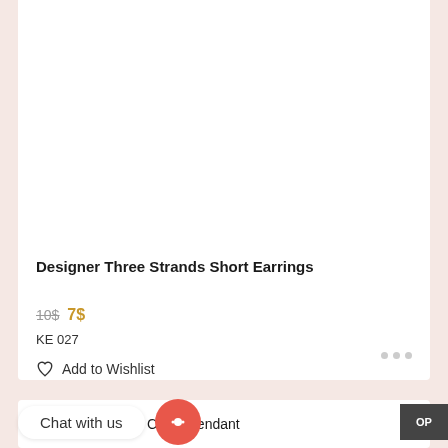[Figure (photo): Product image area (white/empty) for Designer Three Strands Short Earrings]
Designer Three Strands Short Earrings
10$ 7$
KE 027
Add to Wishlist
Floral Kundan Chain Pendant
Chat with us